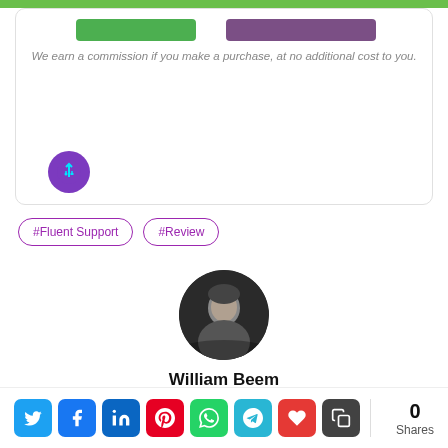We earn a commission if you make a purchase, at no additional cost to you.
#Fluent Support
#Review
[Figure (photo): Black and white circular portrait photo of William Beem]
William Beem
Founder, Suburbia Press
[Figure (infographic): Social sharing bar with Twitter, Facebook, LinkedIn, Pinterest, WhatsApp, Telegram, Heart, and Copy icons, plus a Shares count of 0]